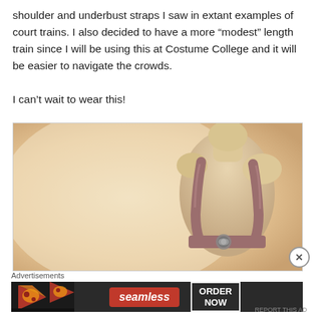shoulder and underbust straps I saw in extant examples of court trains. I also decided to have a more “modest” length train since I will be using this at Costume College and it will be easier to navigate the crowds.

I can’t wait to wear this!
[Figure (photo): A dressmaker mannequin shown from the back, wearing shoulder straps and an underbust band made of reddish-brown velvet fabric with decorative hardware/brooch at the lower back.]
Advertisements
[Figure (other): Advertisement banner for Seamless food delivery service showing pizza images on the left, the Seamless logo in red, and an ORDER NOW button on the right against a dark background.]